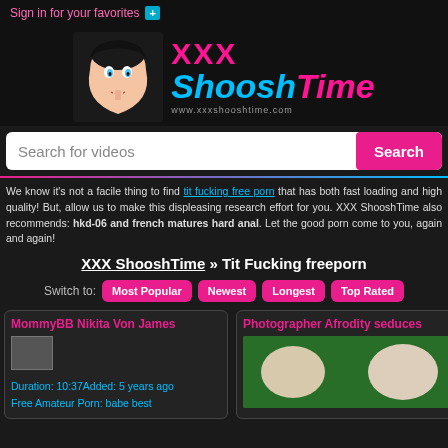Sign in for your favorites +
[Figure (logo): XXX ShooshTime logo with cartoon character and URL www.xxxshooshtime.com]
Search for videos
We know it's not a facile thing to find tit fucking free porn that has both fast loading and high quality! But, allow us to make this displeasing research effort for you. XXX ShooshTime also recommends: hkd-06 and french matures hard anal. Let the good porn come to you, again and again!
XXX ShooshTime » Tit Fucking freeporn
Switch to: Most Popular Newest Longest Top Rated
MommyBB Nikita Von James
Duration: 10:37Added: 5 years ago
Free Amateur Porn: babe best
Photographer Afrodity seduces